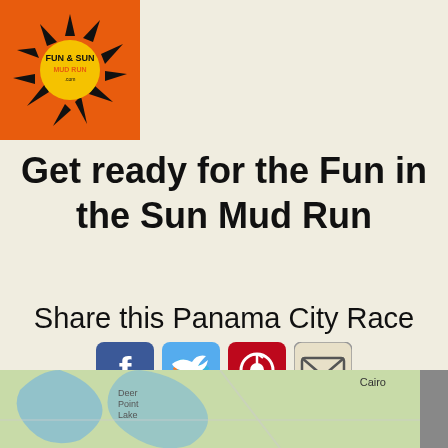[Figure (logo): Fun in the Sun Mud Run logo — orange square background with black sun-splash graphic and text]
Get ready for the Fun in the Sun Mud Run
Share this Panama City Race
[Figure (illustration): Social media sharing icons: Facebook (blue), Twitter (light blue), Pinterest (red), Email (grey envelope)]
[Figure (map): Map strip showing Panama City area with Deer Point Lake label and Cairo label visible]